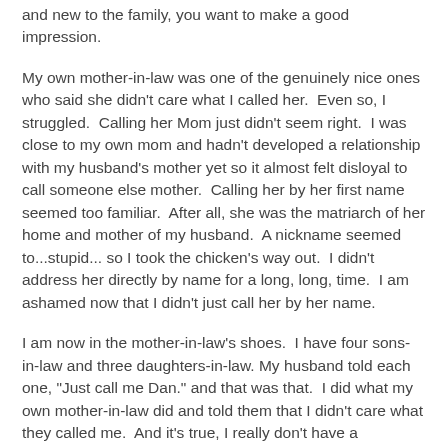and new to the family, you want to make a good impression.
My own mother-in-law was one of the genuinely nice ones who said she didn't care what I called her.  Even so, I struggled.  Calling her Mom just didn't seem right.  I was close to my own mom and hadn't developed a relationship with my husband's mother yet so it almost felt disloyal to call someone else mother.  Calling her by her first name seemed too familiar.  After all, she was the matriarch of her home and mother of my husband.  A nickname seemed to...stupid... so I took the chicken's way out.  I didn't address her directly by name for a long, long, time.  I am ashamed now that I didn't just call her by her name.
I am now in the mother-in-law's shoes.  I have four sons-in-law and three daughters-in-law. My husband told each one, "Just call me Dan." and that was that.  I did what my own mother-in-law did and told them that I didn't care what they called me.  And it's true, I really don't have a preference.  My sons-in-law all call me Mom and have been comfortable from the start calling me that.  My daughters-in-law seem a little more conflicted.  One calls me Laura and the other two call